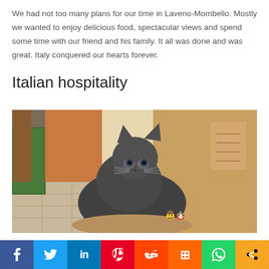We had not too many plans for our time in Laveno-Mombello. Mostly we wanted to enjoy delicious food, spectacular views and spend some time with our friend and his family. It all was done and was great. Italy conquered our hearts forever.
Italian hospitality
[Figure (photo): A grey cat lying on a patterned cushion or mat inside an Italian home, looking directly at the camera. The room has tiled floor and colorful items in the background. Two small emoji-like figures are visible near the cat.]
Social share buttons: Facebook, Twitter, LinkedIn, Pinterest, Reddit, Mix, WhatsApp, Share